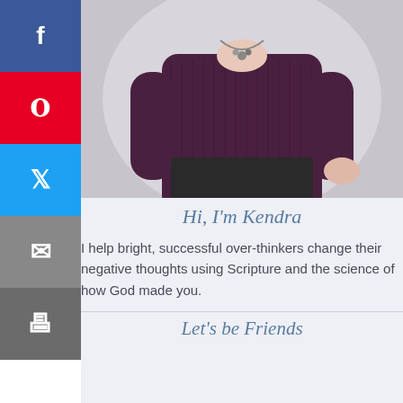[Figure (photo): Woman in a dark purple/maroon ribbed top with a necklace, photographed from approximately the waist to just below the neck against a light gray background.]
Hi, I'm Kendra
I help bright, successful over-thinkers change their negative thoughts using Scripture and the science of how God made you.
Let's be Friends